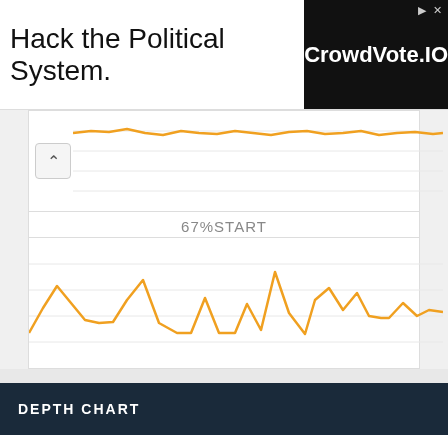[Figure (screenshot): Advertisement banner: 'Hack the Political System.' text on left, CrowdVote.IO logo on dark background on right]
[Figure (continuous-plot): Top line chart showing a mostly flat orange line near the top of the chart area, with minor fluctuations]
67%START
[Figure (continuous-plot): Bottom line chart showing an orange line with significant peaks and valleys across the chart area]
DEPTH CHART
Minnesota Twins
Roster Breakdown